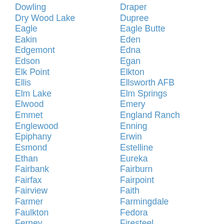Dowling
Draper
Dry Wood Lake
Dupree
Eagle
Eagle Butte
Eakin
Eden
Edgemont
Edna
Edson
Egan
Elk Point
Elkton
Ellis
Ellsworth AFB
Elm Lake
Elm Springs
Elwood
Emery
Emmet
England Ranch
Englewood
Enning
Epiphany
Erwin
Esmond
Estelline
Ethan
Eureka
Fairbank
Fairburn
Fairfax
Fairpoint
Fairview
Faith
Farmer
Farmingdale
Faulkton
Fedora
Ferney
Firesteel
Flandreau
Fleming